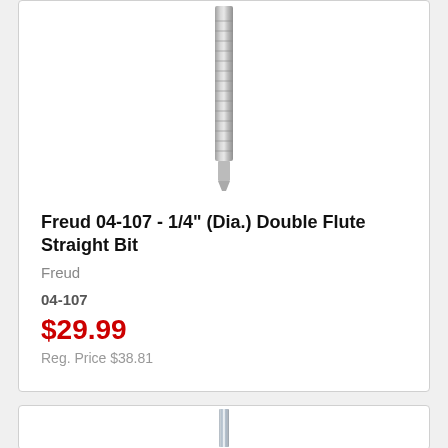[Figure (photo): Router bit (Freud 04-107) shown vertically, gray metallic shank visible at top, partially cropped]
Freud 04-107 - 1/4" (Dia.) Double Flute Straight Bit
Freud
04-107
$29.99
Reg. Price $38.81
[Figure (photo): Router bit shown vertically, silver/chrome metallic, partially visible at bottom of page]